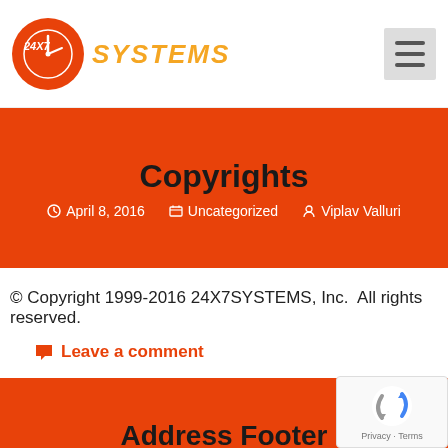[Figure (logo): 24X7 Systems logo with orange circle and italic text]
Copyrights
April 8, 2016   Uncategorized   Viplav Valluri
© Copyright 1999-2016 24X7SYSTEMS, Inc.  All rights reserved.
Leave a comment
Address Footer
August 25, 2016   Uncategorized   Viplav V...
[Figure (other): Google reCAPTCHA widget box]